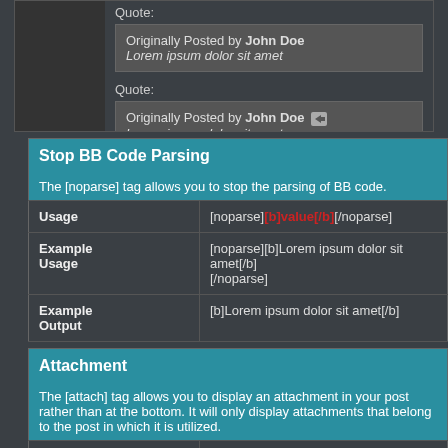Quote:
Originally Posted by John Doe
Lorem ipsum dolor sit amet
Quote:
Originally Posted by John Doe [arrow icon]
Lorem ipsum dolor sit amet
| Stop BB Code Parsing |
| --- |
| The [noparse] tag allows you to stop the parsing of BB code. |
| Usage | [noparse][b]value[/b][/noparse] |
| Example Usage | [noparse][b]Lorem ipsum dolor sit amet[/b]
[/noparse] |
| Example Output | [b]Lorem ipsum dolor sit amet[/b] |
| Attachment |
| --- |
| The [attach] tag allows you to display an attachment in your post rather than at the bottom. It will only display attachments that belong to the post in which it is utilized. |
| Usage | [attach]attachmentid[/attach] |